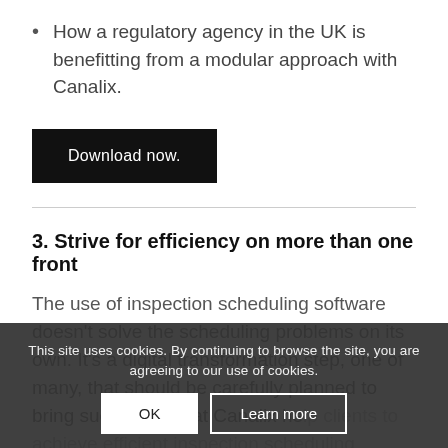How a regulatory agency in the UK is benefitting from a modular approach with Canalix.
Download now.
3. Strive for efficiency on more than one front
The use of inspection scheduling software doesn't solve the scheduling problems on its own. It's a digital transformation step, one of many, that should be carefully planned to bring success. We at Canalix help clients to achieve efficient inspection scheduling enabling them to manage the travel time between inspection jobs
This site uses cookies. By continuing to browse the site, you are agreeing to our use of cookies.